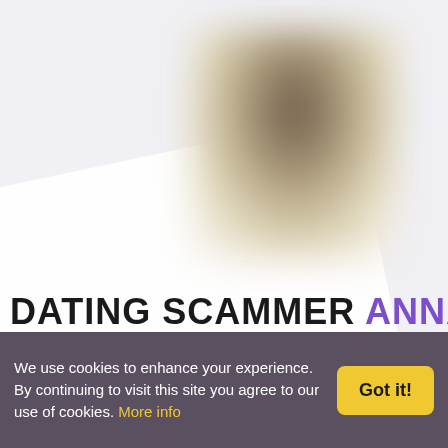[Figure (photo): Blurred/pixelated profile photo of a person, positioned upper center-right on a light gray background with a white angled paper card behind it]
DATING SCAMMER ANNA
We use cookies to enhance your experience. By continuing to visit this site you agree to our use of cookies. More info